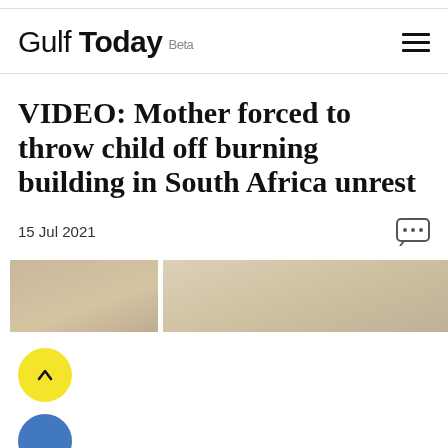Gulf Today Beta
VIDEO: Mother forced to throw child off burning building in South Africa unrest
15 Jul 2021
[Figure (photo): Two partial photo thumbnails showing blurred beige/tan surfaces, likely building or wall textures related to the South Africa unrest article.]